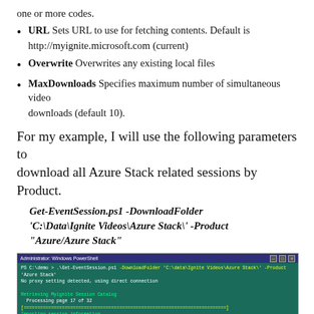one or more codes.
URL Sets URL to use for fetching contents. Default is http://myignite.microsoft.com (current)
Overwrite Overwrites any existing local files
MaxDownloads Specifies maximum number of simultaneous video downloads (default 10).
For my example, I will use the following parameters to download all Azure Stack related sessions by Product.
Get-EventSession.ps1 -DownloadFolder 'C:\Data\Ignite Videos\Azure Stack\' -Product "Azure/Azure Stack"
[Figure (screenshot): Windows PowerShell terminal showing script running: retrieving Myignite Session Catalog, importing session information, background download jobs in progress (1 slidedecks / 1 videos), loading information for 1616 sessions, storing session information, there are 46 sessions matching criteria.]